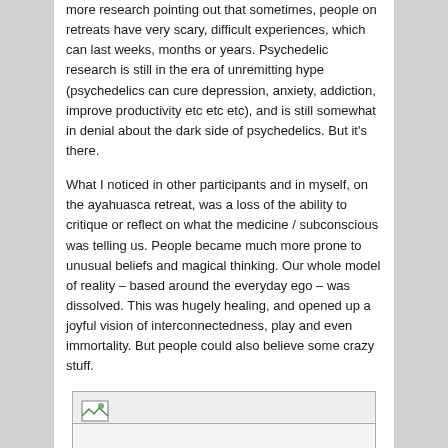more research pointing out that sometimes, people on retreats have very scary, difficult experiences, which can last weeks, months or years. Psychedelic research is still in the era of unremitting hype (psychedelics can cure depression, anxiety, addiction, improve productivity etc etc etc), and is still somewhat in denial about the dark side of psychedelics. But it's there.
What I noticed in other participants and in myself, on the ayahuasca retreat, was a loss of the ability to critique or reflect on what the medicine / subconscious was telling us. People became much more prone to unusual beliefs and magical thinking. Our whole model of reality – based around the everyday ego – was dissolved. This was hugely healing, and opened up a joyful vision of interconnectedness, play and even immortality. But people could also believe some crazy stuff.
[Figure (other): A broken/missing image placeholder box with a small image icon in the top-left corner and a header bar.]